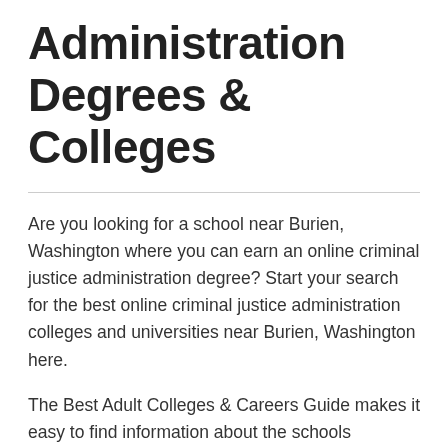Administration Degrees & Colleges
Are you looking for a school near Burien, Washington where you can earn an online criminal justice administration degree? Start your search for the best online criminal justice administration colleges and universities near Burien, Washington here.
The Best Adult Colleges & Careers Guide makes it easy to find information about the schools